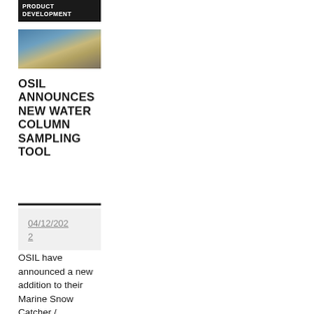PRODUCT DEVELOPMENT
[Figure (photo): Outdoor photo showing oceanographic sampling equipment on a vessel deck with water in the background]
OSIL ANNOUNCES NEW WATER COLUMN SAMPLING TOOL
04/12/2022
OSIL have announced a new addition to their Marine Snow Catcher /